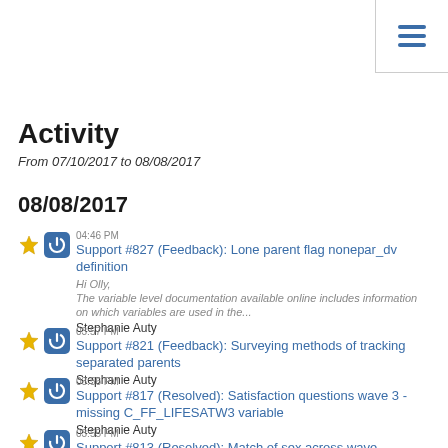≡ (hamburger menu icon)
Activity
From 07/10/2017 to 08/08/2017
08/08/2017
04:46 PM Support #827 (Feedback): Lone parent flag nonepar_dv definition
Hi Olly,
The variable level documentation available online includes information on which variables are used in the...
Stephanie Auty
03:57 PM Support #821 (Feedback): Surveying methods of tracking separated parents
Stephanie Auty
03:56 PM Support #817 (Resolved): Satisfaction questions wave 3 - missing C_FF_LIFESATW3 variable
Stephanie Auty
03:55 PM Support #813 (Resolved): Match of sex across wave...